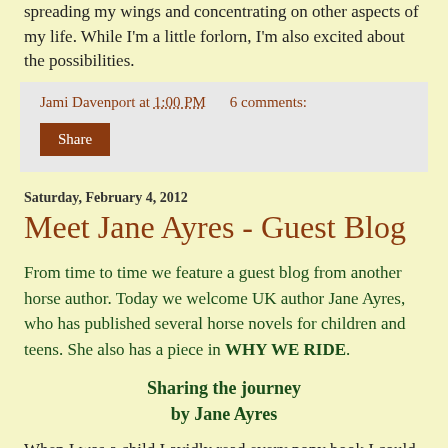spreading my wings and concentrating on other aspects of my life. While I'm a little forlorn, I'm also excited about the possibilities.
Jami Davenport at 1:00 PM   6 comments:
Share
Saturday, February 4, 2012
Meet Jane Ayres - Guest Blog
From time to time we feature a guest blog from another horse author. Today we welcome UK author Jane Ayres, who has published several horse novels for children and teens. She also has a piece in WHY WE RIDE.
Sharing the journey
by Jane Ayres
When I was a child I avidly read every pony book I could lay my hands on.  My favourites were by the Pullein-Thompson sisters -